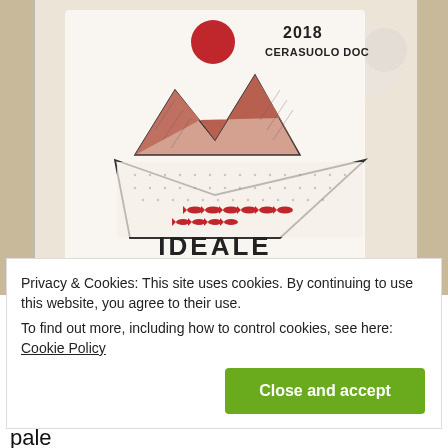[Figure (photo): Photo of a wine bottle label reading 'IDEALE PETRINI BIOLOGICO', 2018 Cerasuolo DOC, with illustrated label showing red mountains, a geometric diamond/sea shape with red fish, and a red circle (sun) above the mountains. A white rose is visible in the background.]
Privacy & Cookies: This site uses cookies. By continuing to use this website, you agree to their use.
To find out more, including how to control cookies, see here: Cookie Policy
Close and accept
here you have it. A lighter red cherry versus pale